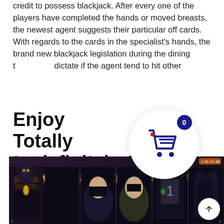credit to possess blackjack. After every one of the players have completed the hands or moved breasts, the newest agent suggests their particular off cards. With regards to the cards in the specialist's hands, the brand new blackjack legislation during the dining t... dictate if the agent tend to hit other...
[Figure (illustration): Shopping cart icon inside a white circle with a dark navy badge showing '0', overlaid on body text]
Enjoy Totally Free $0 You to definitely Credit Online game On the web
[Figure (screenshot): Screenshot of the 'Immortal Romance' online slot game showing gothic-themed characters and reels]